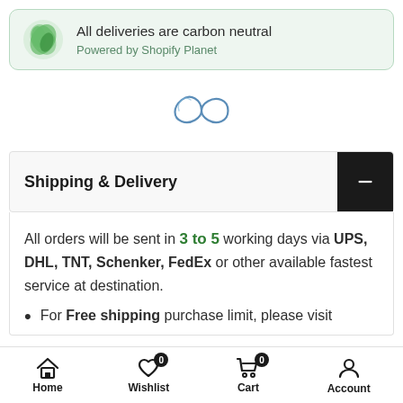[Figure (logo): Green leaf circular logo for carbon neutral delivery banner]
All deliveries are carbon neutral
Powered by Shopify Planet
[Figure (illustration): Infinity symbol drawn in blue/teal outline style, indicating a loading spinner]
Shipping & Delivery
All orders will be sent in 3 to 5 working days via UPS, DHL, TNT, Schenker, FedEx or other available fastest service at destination.
For Free shipping purchase limit, please visit
[Figure (infographic): Bottom navigation bar with Home, Wishlist (badge 0), Cart (badge 0), Account icons]